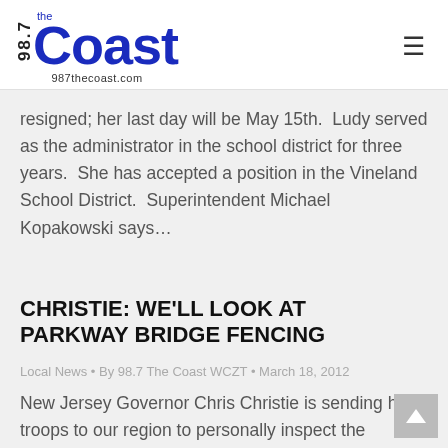98.7 the Coast • 987thecoast.com
resigned; her last day will be May 15th.  Ludy served as the administrator in the school district for three years.  She has accepted a position in the Vineland School District.  Superintendent Michael Kopakowski says…
CHRISTIE: WE'LL LOOK AT PARKWAY BRIDGE FENCING
Local News • By 98.7 The Coast WCZT • March 18, 2012
New Jersey Governor Chris Christie is sending his troops to our region to personally inspect the